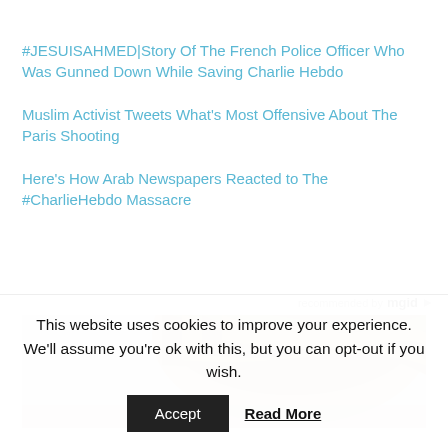#JESUISAHMED|Story Of The French Police Officer Who Was Gunned Down While Saving Charlie Hebdo
Muslim Activist Tweets What's Most Offensive About The Paris Shooting
Here's How Arab Newspapers Reacted to The #CharlieHebdo Massacre
recommended by mgid
[Figure (photo): Top of a person's head with blonde/light brown hair visible, partial view]
This website uses cookies to improve your experience. We'll assume you're ok with this, but you can opt-out if you wish.
Accept  Read More